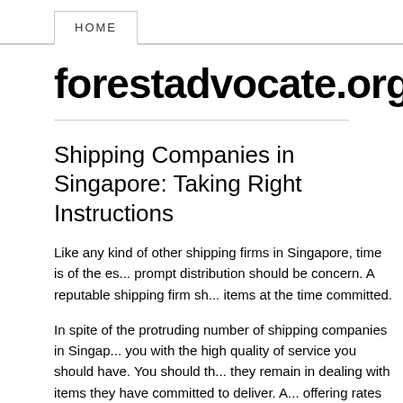HOME
forestadvocate.org
Shipping Companies in Singapore: Taking Right Instructions
Like any kind of other shipping firms in Singapore, time is of the es... prompt distribution should be concern. A reputable shipping firm sh... items at the time committed.
In spite of the protruding number of shipping companies in Singap... you with the high quality of service you should have. You should th... they remain in dealing with items they have committed to deliver. A... offering rates that are as well affordable since there is a likelihood... shipping practices.